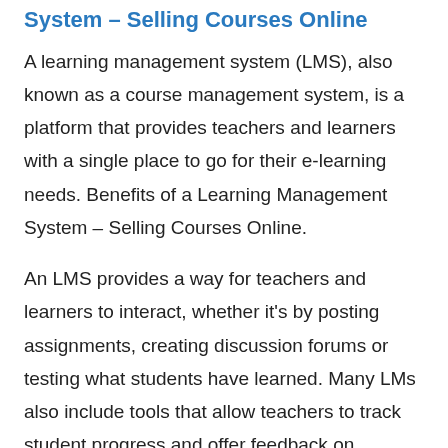System – Selling Courses Online
A learning management system (LMS), also known as a course management system, is a platform that provides teachers and learners with a single place to go for their e-learning needs. Benefits of a Learning Management System – Selling Courses Online.
An LMS provides a way for teachers and learners to interact, whether it's by posting assignments, creating discussion forums or testing what students have learned. Many LMs also include tools that allow teachers to track student progress and offer feedback on assignments.